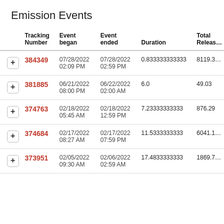Emission Events
|  | Tracking Number | Event began | Event ended | Duration | Total Releas… |
| --- | --- | --- | --- | --- | --- |
| + | 384349 | 07/28/2022 02:09 PM | 07/28/2022 02:59 PM | 0.833333333333 | 8119.3… |
| + | 381885 | 06/21/2022 08:00 PM | 06/22/2022 02:00 AM | 6.0 | 49.03 |
| + | 374763 | 02/18/2022 05:45 AM | 02/18/2022 12:59 PM | 7.23333333333 | 876.29 |
| + | 374684 | 02/17/2022 08:27 AM | 02/17/2022 07:59 PM | 11.5333333333 | 6041.1… |
| + | 373951 | 02/05/2022 09:30 AM | 02/06/2022 02:59 AM | 17.4833333333 | 1869.7… |